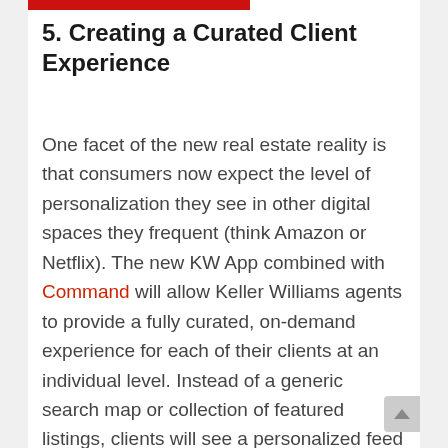5. Creating a Curated Client Experience
One facet of the new real estate reality is that consumers now expect the level of personalization they see in other digital spaces they frequent (think Amazon or Netflix). The new KW App combined with Command will allow Keller Williams agents to provide a fully curated, on-demand experience for each of their clients at an individual level. Instead of a generic search map or collection of featured listings, clients will see a personalized feed tailored to their preferences and their neighborhood. And, because agents are equipped to push out information their clients truly care about, deeper connections are fostered.